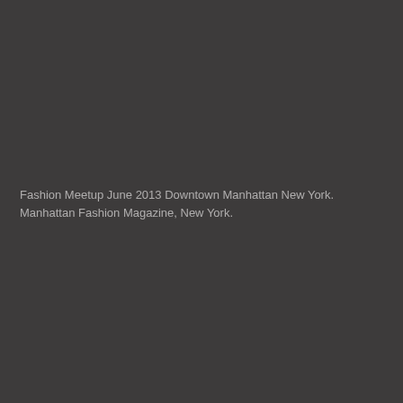Fashion Meetup June 2013 Downtown Manhattan New York. Manhattan Fashion Magazine, New York.